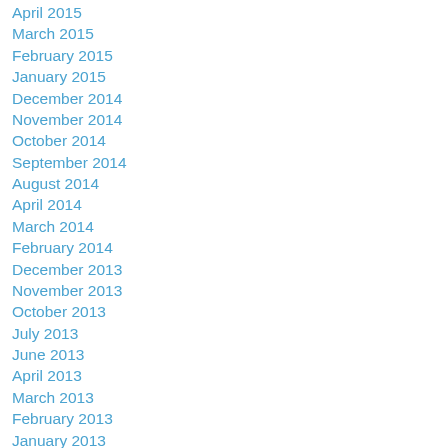April 2015
March 2015
February 2015
January 2015
December 2014
November 2014
October 2014
September 2014
August 2014
April 2014
March 2014
February 2014
December 2013
November 2013
October 2013
July 2013
June 2013
April 2013
March 2013
February 2013
January 2013